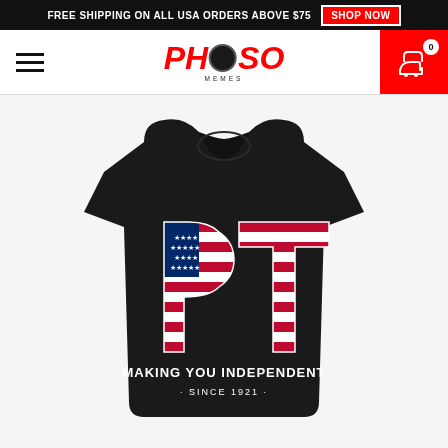FREE SHIPPING ON ALL USA ORDERS ABOVE $75  SHOP NOW
[Figure (logo): PHSO Memes logo with red stylized letters and baseball in center]
[Figure (photo): Black t-shirt with American flag pattern letters PT and text MAKING YOU INDEPENDENT SINCE 1921]